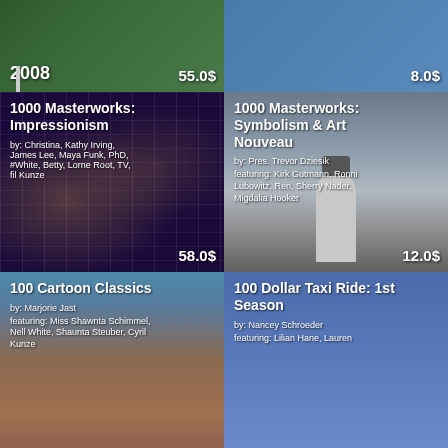[Figure (photo): Partial top-left card showing year 2008 and price 55.0$, green/nature background]
[Figure (photo): Partial top-right card showing price 8.0$, blue tones with person]
[Figure (photo): 1000 Masterworks: Impressionism book/movie card, dark purple building at night, price 58.0$, by Christina, Kathy Irving, featuring James Lee, Maya Funk, PhD, White, Betty, Lorne Root, TV, fil Kunze]
[Figure (photo): 1000 Masterworks: Symbolism & Art Nouveau card, black and white lighthouse photo, price 12.0$, by Pres. Trevor Dziesik, featuring Kirk Gutmann, Ronni Lubowitz, Ren, Sherry Nader, Migdalia Hooker]
[Figure (photo): 100 Cartoon Classics card, canyon/rock background, by Marjorie Jast, featuring Miss Shawnta Schimmel, Nell White, Shaunta Steuber, Cyril Kunze]
[Figure (photo): 100 Dollar Taxi Ride: 1st Season card, blue gradient background, by Nancey Schroeder, featuring Lilian Hane, Lauren]